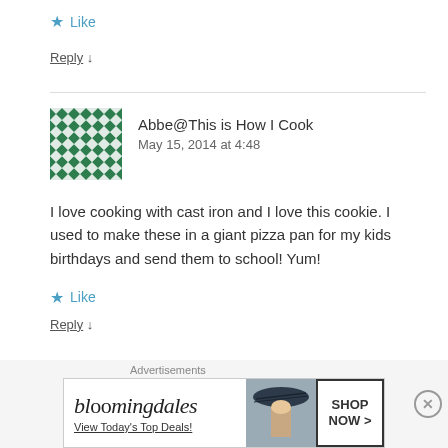★ Like
Reply ↓
Abbe@This is How I Cook
May 15, 2014 at 4:48
I love cooking with cast iron and I love this cookie. I used to make these in a giant pizza pan for my kids birthdays and send them to school! Yum!
★ Like
Reply ↓
[Figure (photo): Green geometric pattern avatar for user Abbe@This is How I Cook]
[Figure (photo): Bloomingdales advertisement banner: bloomingdales logo, View Today's Top Deals!, woman with large hat, SHOP NOW > button]